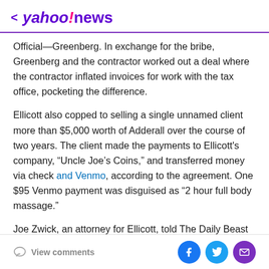< yahoo!news
Official—Greenberg. In exchange for the bribe, Greenberg and the contractor worked out a deal where the contractor inflated invoices for work with the tax office, pocketing the difference.
Ellicott also copped to selling a single unnamed client more than $5,000 worth of Adderall over the course of two years. The client made the payments to Ellicott's company, "Uncle Joe's Coins," and transferred money via check and Venmo, according to the agreement. One $95 Venmo payment was disguised as "2 hour full body massage."
Joe Zwick, an attorney for Ellicott, told The Daily Beast
View comments | social icons: Facebook, Twitter, Mail